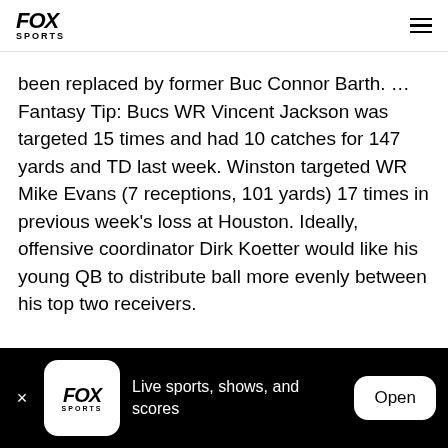FOX SPORTS
been replaced by former Buc Connor Barth. … Fantasy Tip: Bucs WR Vincent Jackson was targeted 15 times and had 10 catches for 147 yards and TD last week. Winston targeted WR Mike Evans (7 receptions, 101 yards) 17 times in previous week's loss at Houston. Ideally, offensive coordinator Dirk Koetter would like his young QB to distribute ball more evenly between his top two receivers.
Live sports, shows, and scores  Open